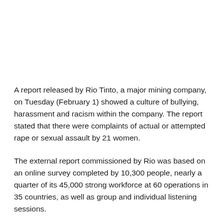A report released by Rio Tinto, a major mining company, on Tuesday (February 1) showed a culture of bullying, harassment and racism within the company. The report stated that there were complaints of actual or attempted rape or sexual assault by 21 women.
The external report commissioned by Rio was based on an online survey completed by 10,300 people, nearly a quarter of its 45,000 strong workforce at 60 operations in 35 countries, as well as group and individual listening sessions.